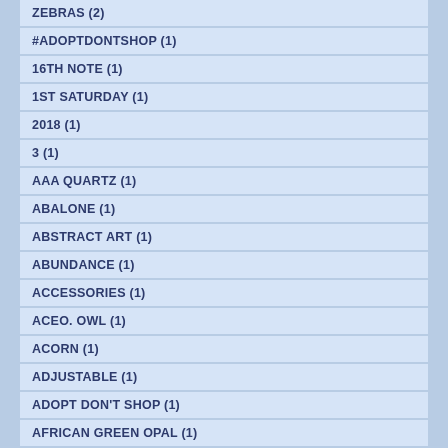ZEBRAS (2)
#ADOPTDONTSHOP (1)
16TH NOTE (1)
1ST SATURDAY (1)
2018 (1)
3 (1)
AAA QUARTZ (1)
ABALONE (1)
ABSTRACT ART (1)
ABUNDANCE (1)
ACCESSORIES (1)
ACEO. OWL (1)
ACORN (1)
ADJUSTABLE (1)
ADOPT DON'T SHOP (1)
AFRICAN GREEN OPAL (1)
AFRICAN OPAL (1)
AFRICAN TURQUOISE (1)